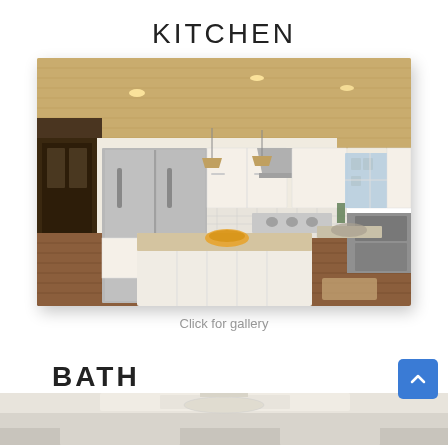KITCHEN
[Figure (photo): Interior photo of a renovated kitchen with white cabinets, stainless steel appliances, a large island with granite countertop, wood flooring, and recessed lighting on a beadboard ceiling.]
Click for gallery
BATH
[Figure (photo): Partial view of a bathroom interior, visible at the bottom of the page.]